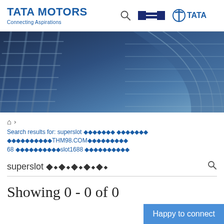[Figure (screenshot): Tata Motors website navigation header with logo, search icon, hamburger menu, and Tata group logo]
[Figure (photo): Hero banner showing a glass building facade with reflective blue-toned windows]
🏠 ›
Search results for: superslot ������ ������������THM98.COM������68 ��������slot1688 ���������
superslot ◆?◆?◆?◆?◆?◆? 🔍
Showing 0 - 0 of 0
Happy to connect